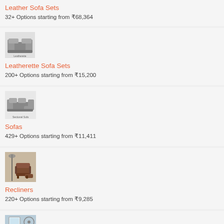Leather Sofa Sets
32+ Options starting from ₹68,364
[Figure (photo): Leatherette sofa set thumbnail image]
Leatherette Sofa Sets
200+ Options starting from ₹15,200
[Figure (photo): Sofa set thumbnail image]
Sofas
429+ Options starting from ₹11,411
[Figure (photo): Recliner chair thumbnail image]
Recliners
220+ Options starting from ₹9,285
[Figure (photo): Sofa/couch thumbnail image (partial)]